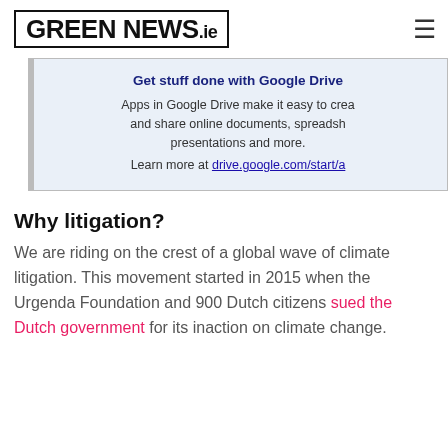GREEN NEWS.ie
[Figure (screenshot): Google Drive advertisement banner with light blue background. Title: 'Get stuff done with Google Drive'. Body: 'Apps in Google Drive make it easy to create and share online documents, spreadsheets, presentations and more.' Link: 'Learn more at drive.google.com/start/a']
Why litigation?
We are riding on the crest of a global wave of climate litigation. This movement started in 2015 when the Urgenda Foundation and 900 Dutch citizens sued the Dutch government for its inaction on climate change.